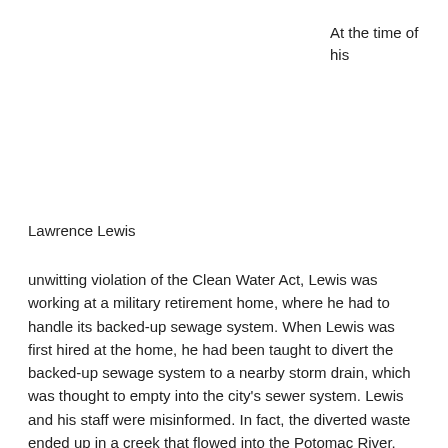At the time of his
Lawrence Lewis
unwitting violation of the Clean Water Act, Lewis was working at a military retirement home, where he had to handle its backed-up sewage system. When Lewis was first hired at the home, he had been taught to divert the backed-up sewage system to a nearby storm drain, which was thought to empty into the city's sewer system. Lewis and his staff were misinformed. In fact, the diverted waste ended up in a creek that flowed into the Potomac River, violating the Clean Water Act.